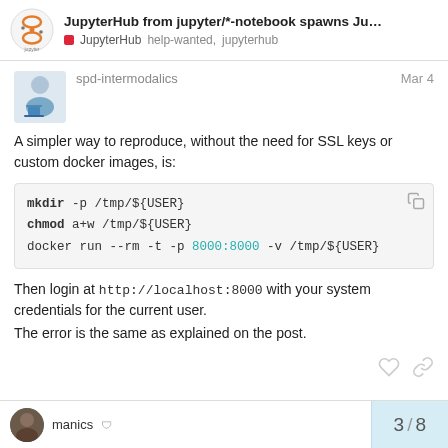JupyterHub from jupyter/*-notebook spawns Ju... | JupyterHub help-wanted, jupyterhub
spd-intermodalics   Mar 4
A simpler way to reproduce, without the need for SSL keys or custom docker images, is:
mkdir -p /tmp/${USER}
chmod a+w /tmp/${USER}
docker run --rm -t -p 8000:8000 -v /tmp/${USER}
Then login at http://localhost:8000 with your system credentials for the current user.
The error is the same as explained on the post.
3 / 8
manics